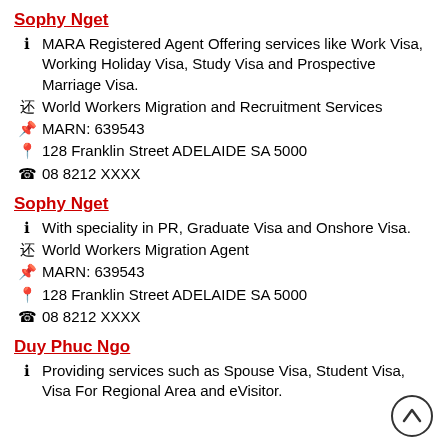Sophy Nget
MARA Registered Agent Offering services like Work Visa, Working Holiday Visa, Study Visa and Prospective Marriage Visa.
World Workers Migration and Recruitment Services
MARN: 639543
128 Franklin Street ADELAIDE SA 5000
08 8212 XXXX
Sophy Nget
With speciality in PR, Graduate Visa and Onshore Visa.
World Workers Migration Agent
MARN: 639543
128 Franklin Street ADELAIDE SA 5000
08 8212 XXXX
Duy Phuc Ngo
Providing services such as Spouse Visa, Student Visa, Visa For Regional Area and eVisitor.